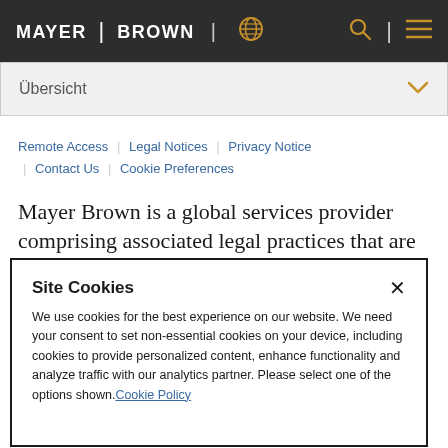MAYER | BROWN
Übersicht
Remote Access | Legal Notices | Privacy Notice | Contact Us | Cookie Preferences
Mayer Brown is a global services provider comprising associated legal practices that are
Site Cookies
We use cookies for the best experience on our website. We need your consent to set non-essential cookies on your device, including cookies to provide personalized content, enhance functionality and analyze traffic with our analytics partner. Please select one of the options shown. Cookie Policy